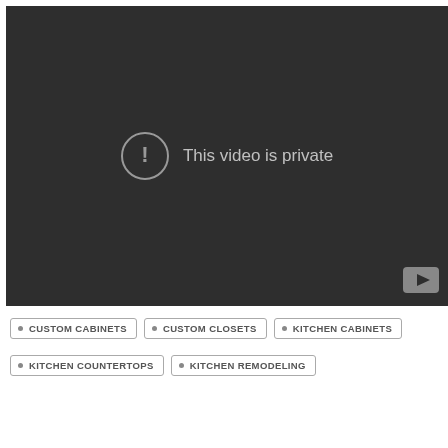[Figure (screenshot): Dark video player showing 'This video is private' message with an exclamation mark circle icon and a YouTube logo watermark in the bottom-right corner.]
CUSTOM CABINETS
CUSTOM CLOSETS
KITCHEN CABINETS
KITCHEN COUNTERTOPS
KITCHEN REMODELING